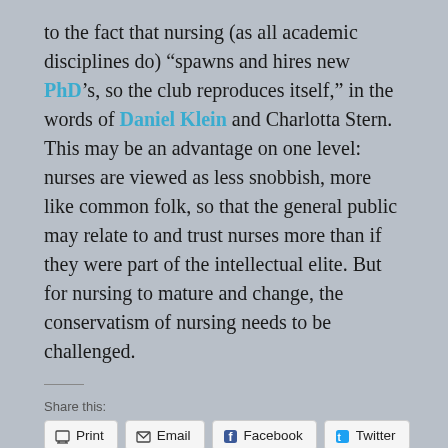to the fact that nursing (as all academic disciplines do) “spawns and hires new PhD’s, so the club reproduces itself,” in the words of Daniel Klein and Charlotta Stern. This may be an advantage on one level: nurses are viewed as less snobbish, more like common folk, so that the general public may relate to and trust nurses more than if they were part of the intellectual elite. But for nursing to mature and change, the conservatism of nursing needs to be challenged.
Share this:
Print
Email
Facebook
Twitter
LinkedIn
Pinterest 1
Reddit
Tumblr
Loading...